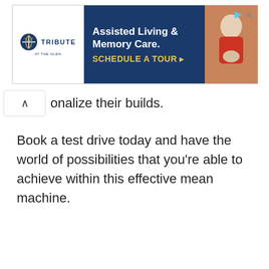[Figure (other): Advertisement banner for Tribute at the Glen Assisted Living & Memory Care. Left section shows the Tribute at the Glen logo. Center section has dark blue background with white text 'Assisted Living & Memory Care.' and golden text 'SCHEDULE A TOUR ▸'. Right section shows a photo of an elderly woman in red holding a small dog.]
onalize their builds.
Book a test drive today and have the world of possibilities that you're able to achieve within this effective mean machine.